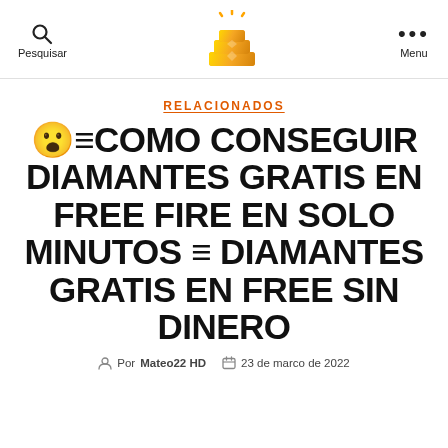Pesquisar | [gold bars logo] | Menu
RELACIONADOS
🎯≡COMO CONSEGUIR DIAMANTES GRATIS EN FREE FIRE EN SOLO MINUTOS ≡ DIAMANTES GRATIS EN FREE SIN DINERO
Por Mateo22 HD   23 de marco de 2022